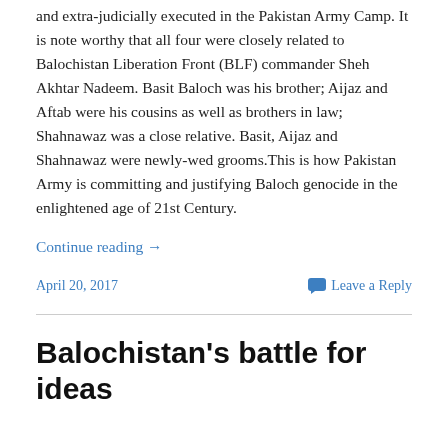and extra-judicially executed in the Pakistan Army Camp. It is note worthy that all four were closely related to Balochistan Liberation Front (BLF) commander Sheh Akhtar Nadeem. Basit Baloch was his brother; Aijaz and Aftab were his cousins as well as brothers in law; Shahnawaz was a close relative. Basit, Aijaz and Shahnawaz were newly-wed grooms.This is how Pakistan Army is committing and justifying Baloch genocide in the enlightened age of 21st Century.
Continue reading →
April 20, 2017
Leave a Reply
Balochistan's battle for ideas